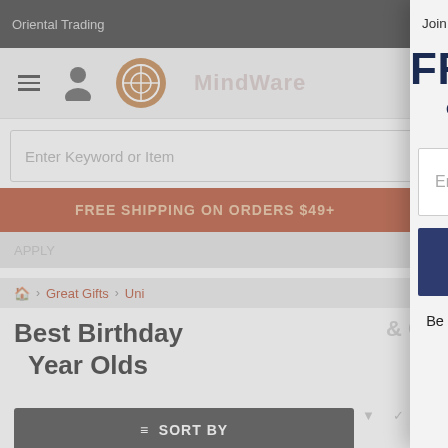[Figure (screenshot): Left side: Oriental Trading / MindWare website background showing navigation bar with hamburger menu, person icon, and logo circle; search bar with 'Enter Keyword or Item' placeholder; orange FREE SHIPPING ON ORDERS $49+ bar; breadcrumb navigation; page title 'Best Birthday Year Olds'; sort by button; active filters label. Right side: Email signup modal overlay with 'Join our email list and get' text, 'FREE SHIPPING ON ORDERS $49+' heading, email address input field, SUBMIT button, and promotional text about exclusive offers.]